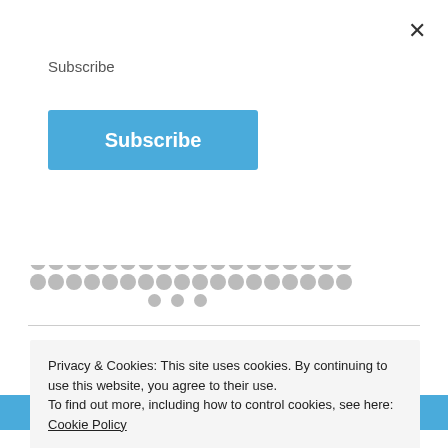×
Subscribe
Subscribe
[Figure (other): Grid of gray dots representing loading placeholders or decorative pattern]
New in the Teespring
Privacy & Cookies: This site uses cookies. By continuing to use this website, you agree to their use. To find out more, including how to control cookies, see here: Cookie Policy
Close and accept